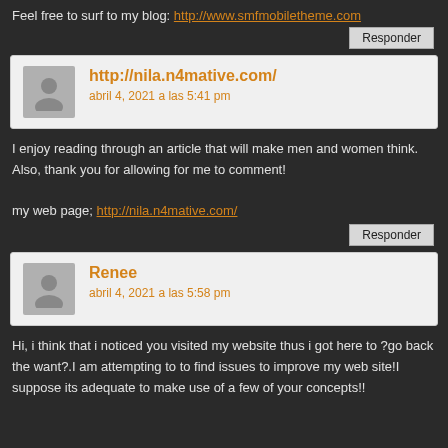Feel free to surf to my blog: http://www.smfmobiletheme.com
Responder
http://nila.n4mative.com/
abril 4, 2021 a las 5:41 pm
I enjoy reading through an article that will make men and women think. Also, thank you for allowing for me to comment!

my web page; http://nila.n4mative.com/
Responder
Renee
abril 4, 2021 a las 5:58 pm
Hi, i think that i noticed you visited my website thus i got here to ?go back the want?.I am attempting to to find issues to improve my web site!I suppose its adequate to make use of a few of your concepts!!